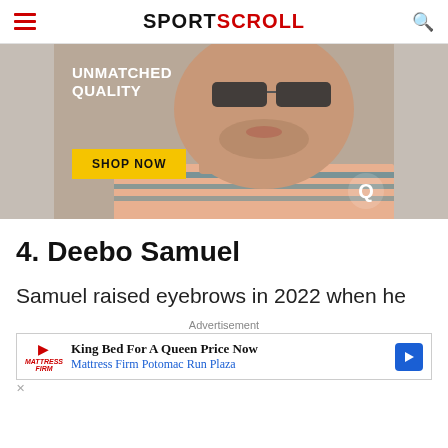SPORTSCROLL
[Figure (photo): Advertisement banner showing a man wearing sunglasses with text 'UNMATCHED QUALITY' and a yellow 'SHOP NOW' button]
4. Deebo Samuel
Samuel raised eyebrows in 2022 when he
Advertisement
[Figure (infographic): Advertisement for Mattress Firm Potomac Run Plaza: King Bed For A Queen Price Now]